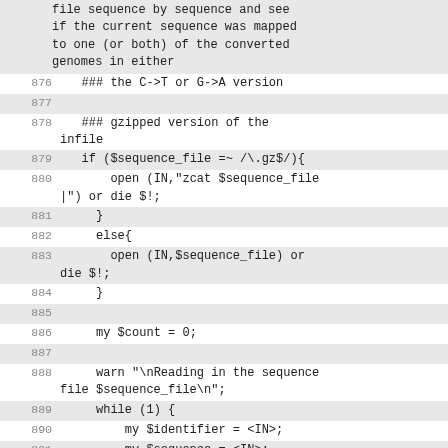file sequence by sequence and see if the current sequence was mapped to one (or both) of the converted genomes in either
876    ### the C->T or G->A version
877
878    ### gzipped version of the infile
879    if ($sequence_file =~ /\.gz$/){
880        open (IN,"zcat $sequence_file |") or die $!;
881      }
882      else{
883        open (IN,$sequence_file) or die $!;
884      }
885
886      my $count = 0;
887
888      warn "\nReading in the sequence file $sequence_file\n";
889      while (1) {
890          my $identifier = <IN>;
891          my $sequence = <IN>;
892          my $identifier_2 = <IN>;
893          my $quality_value = <IN>;
894          last unless ($identifier and $sequence and $identifier_2 and $quality_value);